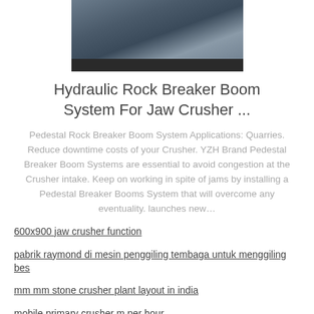[Figure (photo): Industrial machinery photo showing a hydraulic rock breaker boom system component, dark metal parts on a workshop floor.]
Hydraulic Rock Breaker Boom System For Jaw Crusher ...
Pedestal Rock Breaker Boom System Applications: Quarries. Reduce downtime costs of your Crusher. YZH Brand Pedestal Breaker Boom Systems are essential to avoid congestion at the Crusher intake. Keep on working in spite of jams by installing a Pedestal Breaker Booms System that will overcome any eventuality. launches new…
600x900 jaw crusher function
pabrik raymond di mesin penggiling tembaga untuk menggiling bes
mm mm stone crusher plant layout in india
mobile primary crusher m per hour
mesin pemetik paultry di afrika selatan